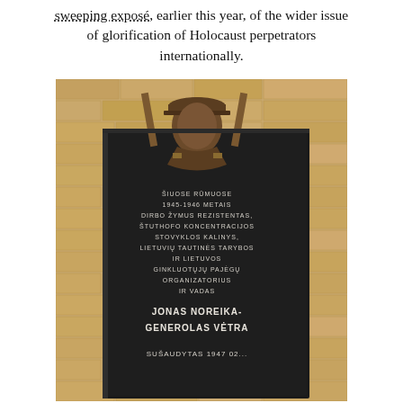sweeping exposé, earlier this year, of the wider issue of glorification of Holocaust perpetrators internationally.
[Figure (photo): Photograph of a dark memorial plaque mounted on a brick wall. The plaque features a bronze bust/relief of a military officer at the top. The inscription on the plaque reads in Lithuanian: ŠIUOSE RŪMUOSE 1945-1946 METAIS DIRBO ŽYMUS REZISTENTAS, ŠTUTHOFO KONCENTRACIJOS STOVYKLOS KALINYS, LIETUVIŲ TAUTINĖS TARYBOS IR LIETUVOS GINKLUOTŲJŲ PAJĖGŲ ORGANIZATORIUS IR VADAS JONAS NOREIKA- GENEROLAS VĖTRA SUŠAUDYTAS 1947 02...]